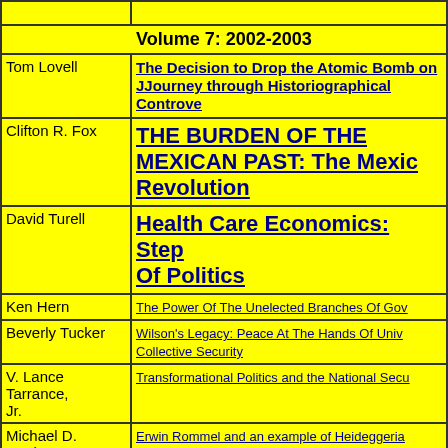| Author | Title |
| --- | --- |
|  |  |
| Volume 7: 2002-2003 |  |
| Tom Lovell | The Decision to Drop the Atomic Bomb on J... Journey through Historiographical Controve... |
| Clifton R. Fox | THE BURDEN OF THE MEXICAN PAST: The Mexic... Revolution |
| David Turell | Health Care Economics: Step... Of Politics |
| Ken Hern | The Power Of The Unelected Branches Of Gov... |
| Beverly Tucker | Wilson's Legacy: Peace At The Hands Of Univ... Collective Security |
| V. Lance Tarrance, Jr. | Transformational Politics and the National Secu... |
| Michael D. Capistran | Erwin Rommel and an example of Heideggeria... |
| Volume 8: 2003-2004 |  |